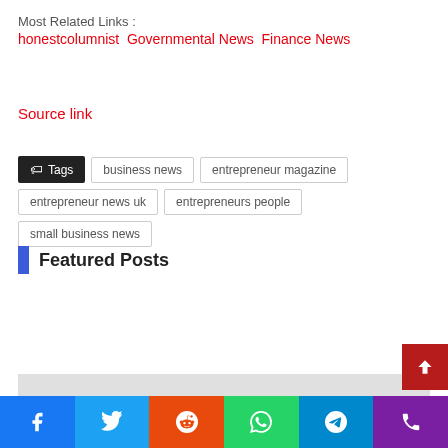Most Related Links :
honestcolumnist Governmental News Finance News
Source link
Tags  business news  entrepreneur magazine  entrepreneur news uk  entrepreneurs people  small business news
Featured Posts